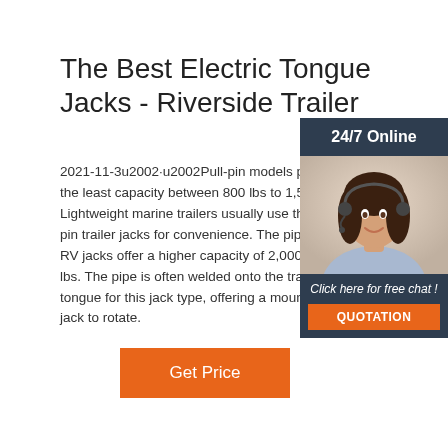The Best Electric Tongue Jacks - Riverside Trailer
2021-11-3u2002·u2002Pull-pin models provide the least capacity between 800 lbs to 1,500 lbs. Lightweight marine trailers usually use the pull-pin trailer jacks for convenience. The pipe mount RV jacks offer a higher capacity of 2,000-7,000 lbs. The pipe is often welded onto the trailer tongue for this jack type, offering a mount for the jack to rotate.
[Figure (photo): Customer service representative woman with headset, smiling, with '24/7 Online' header and 'Click here for free chat!' text and orange QUOTATION button]
Get Price